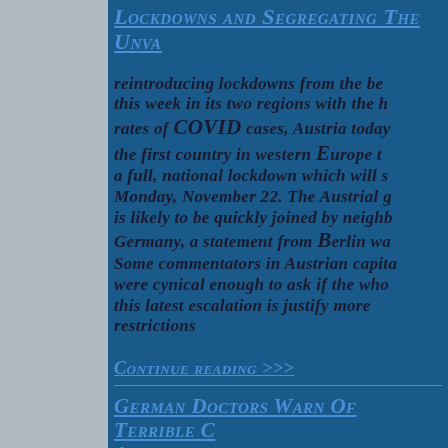Lockdowns and Segregating The Unva...
reintroducing lockdowns from the be... This week in its two regions with the h... rates of COVID cases, Austria today... the first country in western Europe t... a full, national lockdown which will s... Monday, November 22. The Austrial g... is likely to be quickly joined by neighb... Germany, a statement from Berlin wa... Some commentators in Austrian capita... were cynical enough to ask if the who... this latest escalation is justify more ... restrictions
Continue reading >>>
German Doctors Warn Of Terrible C... A...